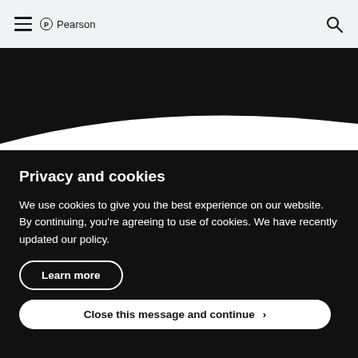Pearson navigation bar with hamburger menu and search icon
[Figure (screenshot): Pearson website navigation bar with hamburger menu icon on left, Pearson logo in center-left, and search icon on right, on a light grey background]
[Figure (illustration): Black hero banner area with a white curved wave at the bottom separating from the next dark section]
Privacy and cookies
We use cookies to give you the best experience on our website. By continuing, you’re agreeing to use of cookies. We have recently updated our policy.
Learn more
Close this message and continue >